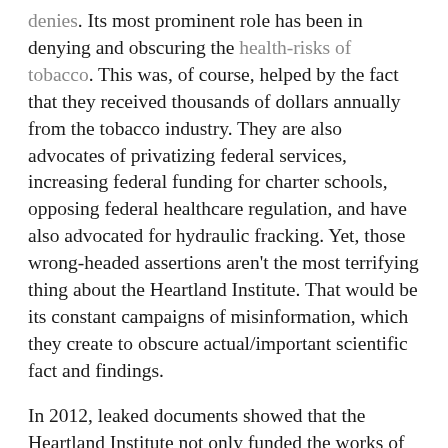denies. Its most prominent role has been in denying and obscuring the health-risks of tobacco. This was, of course, helped by the fact that they received thousands of dollars annually from the tobacco industry. They are also advocates of privatizing federal services, increasing federal funding for charter schools, opposing federal healthcare regulation, and have also advocated for hydraulic fracking. Yet, those wrong-headed assertions aren't the most terrifying thing about the Heartland Institute. That would be its constant campaigns of misinformation, which they create to obscure actual/important scientific fact and findings.
In 2012, leaked documents showed that the Heartland Institute not only funded the works of well known climate-deniers, such as Fred Singer and Craig Idso, but actively worked to dissuade teachers and K-12 curriculum advisors from promoting climate change consensus, and instead pushed for teachers to claim that there was no clear scientific consensus on the subject. -For the record: That is factually wrong, but also not the point. To